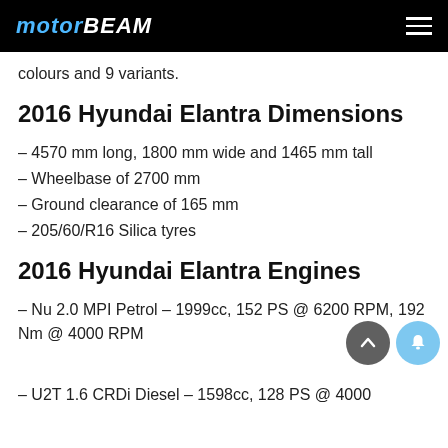MOTORBEAM
colours and 9 variants.
2016 Hyundai Elantra Dimensions
– 4570 mm long, 1800 mm wide and 1465 mm tall
– Wheelbase of 2700 mm
– Ground clearance of 165 mm
– 205/60/R16 Silica tyres
2016 Hyundai Elantra Engines
– Nu 2.0 MPI Petrol – 1999cc, 152 PS @ 6200 RPM, 192 Nm @ 4000 RPM
– U2T 1.6 CRDi Diesel – 1598cc, 128 PS @ 4000...